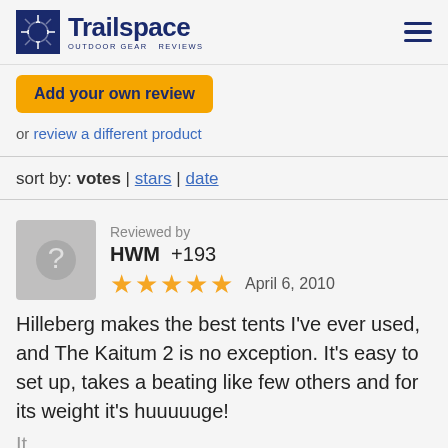Trailspace OUTDOOR GEAR REVIEWS
Add your own review
or review a different product
sort by: votes | stars | date
Reviewed by HWM +193 April 6, 2010 ★★★★★
Hilleberg makes the best tents I've ever used, and The Kaitum 2 is no exception. It's easy to set up, takes a beating like few others and for its weight it's huuuuuge!